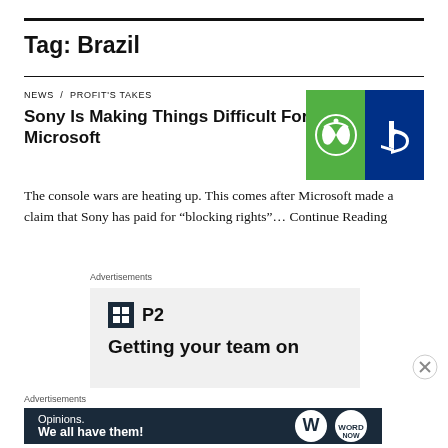Tag: Brazil
NEWS / PROFIT'S TAKES
Sony Is Making Things Difficult For Microsoft
[Figure (illustration): Xbox (green background with Xbox logo) and PlayStation (blue background with PS logo) side by side]
The console wars are heating up. This comes after Microsoft made a claim that Sony has paid for “blocking rights”… Continue Reading
Advertisements
[Figure (logo): P2 logo with a dark square icon containing a grid symbol, next to 'P2' text, with tagline 'Getting your team on']
Advertisements
[Figure (infographic): Dark blue advertisement banner: 'Opinions. We all have them!' with WordPress and another logo on the right]